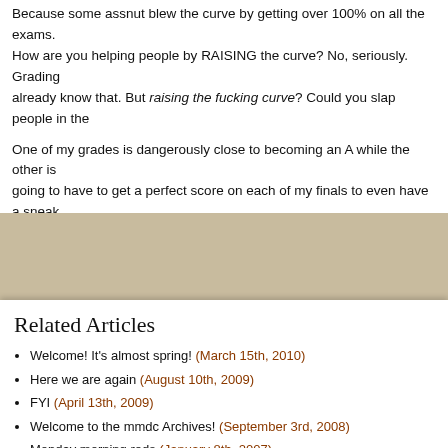Because some assnut blew the curve by getting over 100% on all the exams. How are you helping people by RAISING the curve? No, seriously. Grading already know that. But raising the fucking curve? Could you slap people in the
One of my grades is dangerously close to becoming an A while the other is going to have to get a perfect score on each of my finals to even have a sneak grade I actually deserve.
FUCK!!!!!!!!!
Related Articles
Welcome! It's almost spring! (March 15th, 2010)
Here we are again (August 10th, 2009)
FYI (April 13th, 2009)
Welcome to the mmdc Archives! (September 3rd, 2008)
Monday morning reds (January 8th, 2007)
No user responded in this post
Subscribe to this post comment rss or